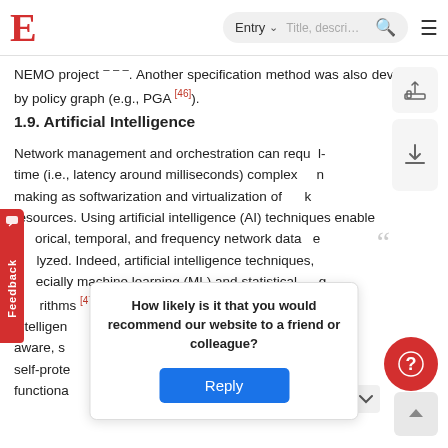E  Entry  [search bar]  [hamburger menu]
NEMO project … Another specification method was also developed by policy graph (e.g., PGA [46]).
1.9. Artificial Intelligence
Network management and orchestration can require real-time (i.e., latency around milliseconds) complex decision making as softwarization and virtualization of network resources. Using artificial intelligence (AI) techniques enable historical, temporal, and frequency network data to be analyzed. Indeed, artificial intelligence techniques, especially machine learning (ML) and statistical learning algorithms [47], can help the FISHY framework be intelligent … aware, self- … and self-protection … -enabled functional … networking
How likely is it that you would recommend our website to a friend or colleague?
Reply